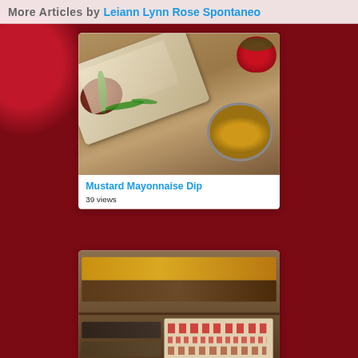More Articles by Leiann Lynn Rose Spontaneo
[Figure (photo): Food photo showing flatbread/pizza with meat toppings and herbs on a tray, alongside a bowl of yellow mustard and a red bowl with green herbs, on a wooden board background]
Mustard Mayonnaise Dip
39 views
[Figure (photo): Photo of folded sweaters and knitwear stacked on a shelf, including a yellow sweater, brown sweater, and a nordic-patterned sweater with red geometric design]